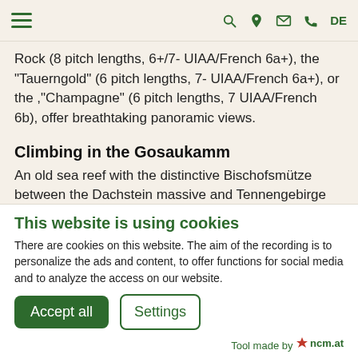Navigation bar with hamburger menu, search, location, email, phone icons and DE language switcher
Rock (8 pitch lengths, 6+/7- UIAA/French 6a+), the "Tauerngold" (6 pitch lengths, 7- UIAA/French 6a+), or the ,"Champagne" (6 pitch lengths, 7 UIAA/French 6b), offer breathtaking panoramic views.
Climbing in the Gosaukamm
An old sea reef with the distinctive Bischofsmütze between the Dachstein massive and Tennengebirge Mountains isn't
close
This website is using cookies
There are cookies on this website. The aim of the recording is to personalize the ads and content, to offer functions for social media and to analyze the access on our website.
Accept all
Settings
Tool made by ncm.at